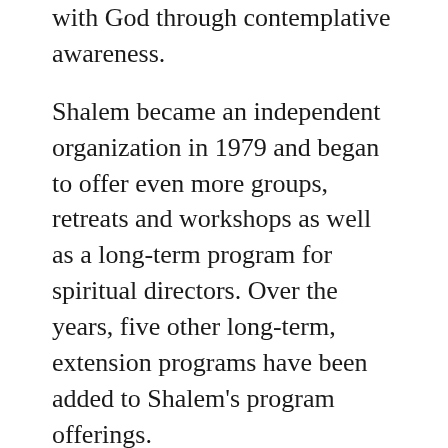with God through contemplative awareness.
Shalem became an independent organization in 1979 and began to offer even more groups, retreats and workshops as well as a long-term program for spiritual directors. Over the years, five other long-term, extension programs have been added to Shalem’s program offerings.
Shalem:
Shalem (pronounced “sha-lame”) is named for the Hebrew word meaning whole: to be complete. Scripture tells us to worship God with a lev shalem, or a whole heart. Although Shalem is grounded in the Christian